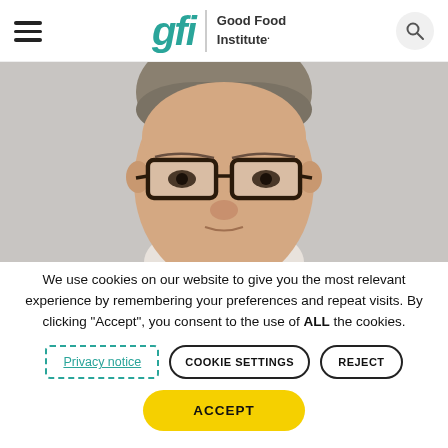Good Food Institute - Navigation header with hamburger menu and search
[Figure (photo): Close-up headshot of a middle-aged man with short salt-and-pepper hair wearing dark-rimmed rectangular glasses, looking directly at camera, light gray background]
We use cookies on our website to give you the most relevant experience by remembering your preferences and repeat visits. By clicking “Accept”, you consent to the use of ALL the cookies.
Privacy notice
COOKIE SETTINGS
REJECT
ACCEPT